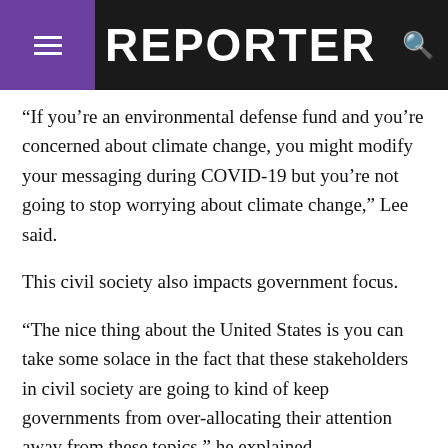REPORTER
“If you’re an environmental defense fund and you’re concerned about climate change, you might modify your messaging during COVID-19 but you’re not going to stop worrying about climate change,” Lee said.
This civil society also impacts government focus.
“The nice thing about the United States is you can take some solace in the fact that these stakeholders in civil society are going to kind of keep governments from over-allocating their attention away from these topics,” he explained.
As he pointed out, concerns over how much coverage is given to potentially controversial policies are not unique to these pandemic times. Most people just don’t have the